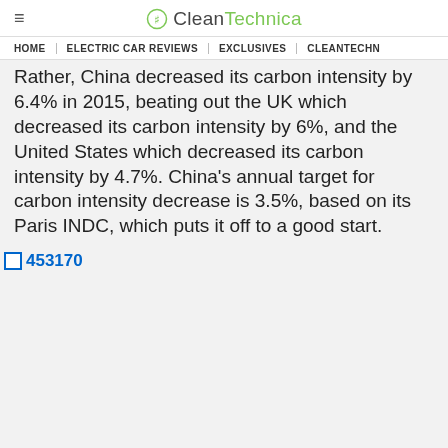CleanTechnica
HOME | ELECTRIC CAR REVIEWS | EXCLUSIVES | CLEANTECHN…
Rather, China decreased its carbon intensity by 6.4% in 2015, beating out the UK which decreased its carbon intensity by 6%, and the United States which decreased its carbon intensity by 4.7%. China's annual target for carbon intensity decrease is 3.5%, based on its Paris INDC, which puts it off to a good start.
[Figure (other): Broken image placeholder labeled 453170]